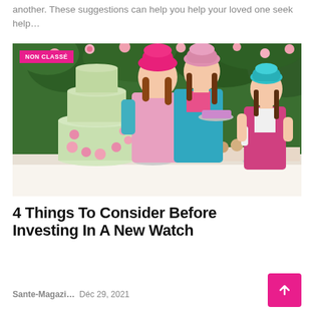another. These suggestions can help you help your loved one seek help…
[Figure (photo): Three girls dressed as chefs in colorful aprons and toques standing around a table with a decorated wedding cake and baked goods, outdoors with flowering greenery background. A pink badge reads 'NON CLASSÉ' in the top-left corner.]
4 Things To Consider Before Investing In A New Watch
Sante-Magazi… Déc 29, 2021